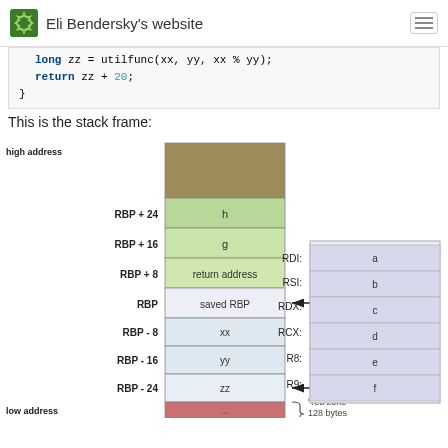Eli Bendersky's website
long zz = utilfunc(xx, yy, xx % yy);
    return zz + 20;
}
This is the stack frame:
[Figure (engineering-diagram): Stack frame diagram showing memory layout with RBP offsets from high to low address. Segments: brown block (caller), green blocks for h (RBP+24) and g (RBP+16), light green for return address (RBP+8), white for saved RBP (RBP), light blue for xx (RBP-8), yy (RBP-16), zz (RBP-24) with RSP arrow, and red zone (128 bytes) at bottom. Right side shows register table: RDI=a, RSI=b, RDX=c, RCX=d, R8=e, R9=f.]